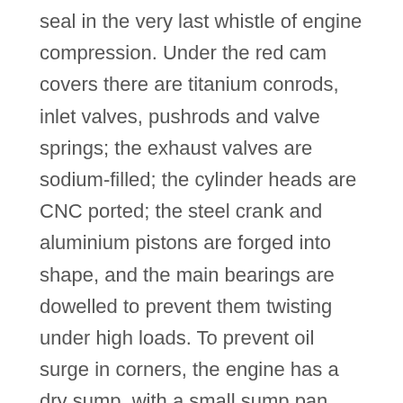seal in the very last whistle of engine compression. Under the red cam covers there are titanium conrods, inlet valves, pushrods and valve springs; the exhaust valves are sodium-filled; the cylinder heads are CNC ported; the steel crank and aluminium pistons are forged into shape, and the main bearings are dowelled to prevent them twisting under high loads. To prevent oil surge in corners, the engine has a dry sump, with a small sump pan under the engine from which oil is scavenged into a separate oil reservoir and then fed at high pressure to the engine bearings by a two-stage pump. The six-speed transmission and the uprated limited-slip differential have separate oil coolers, and the diff,